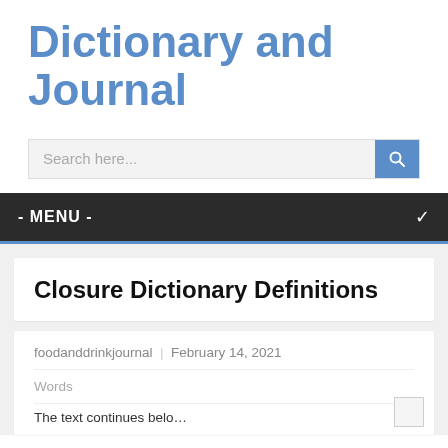Dictionary and Journal
[Figure (screenshot): Search bar with placeholder text 'Search here...' and a blue search button]
- MENU -
Closure Dictionary Definitions
foodanddrinkjournal | February 14, 2021
Words
The text continues below the visible area...